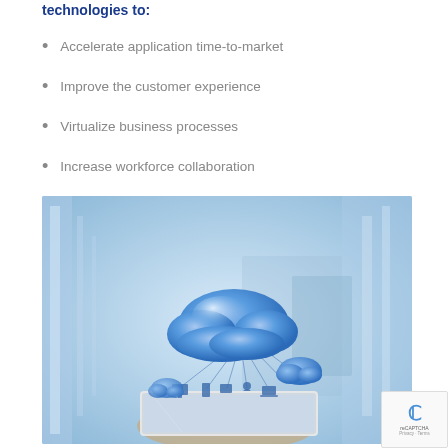technologies to:
Accelerate application time-to-market
Improve the customer experience
Virtualize business processes
Increase workforce collaboration
[Figure (photo): Person holding a tablet with a cloud computing graphic floating above it showing cloud icons and connected devices, blue-tinted office background]